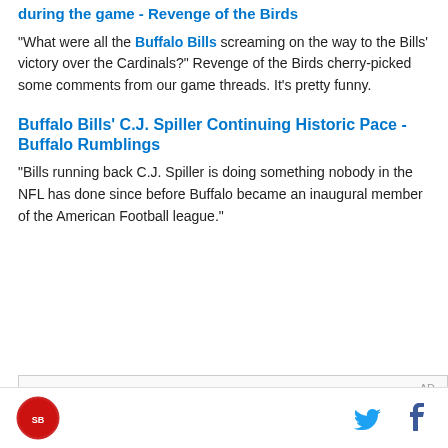during the game - Revenge of the Birds
"What were all the Buffalo Bills screaming on the way to the Bills' victory over the Cardinals?" Revenge of the Birds cherry-picked some comments from our game threads. It's pretty funny.
Buffalo Bills' C.J. Spiller Continuing Historic Pace - Buffalo Rumblings
"Bills running back C.J. Spiller is doing something nobody in the NFL has done since before Buffalo became an inaugural member of the American Football league."
[Figure (other): Advertisement placeholder box with AD label]
Site logo, Twitter icon, Facebook icon